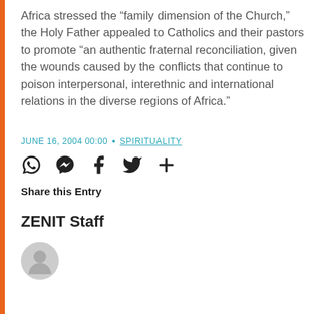Africa stressed the “family dimension of the Church,” the Holy Father appealed to Catholics and their pastors to promote “an authentic fraternal reconciliation, given the wounds caused by the conflicts that continue to poison interpersonal, interethnic and international relations in the diverse regions of Africa.”
JUNE 16, 2004 00:00 • SPIRITUALITY
[Figure (other): Social sharing icons: WhatsApp, Messenger, Facebook, Twitter, and a plus/add button]
Share this Entry
ZENIT Staff
[Figure (other): Grey circular avatar placeholder icon]